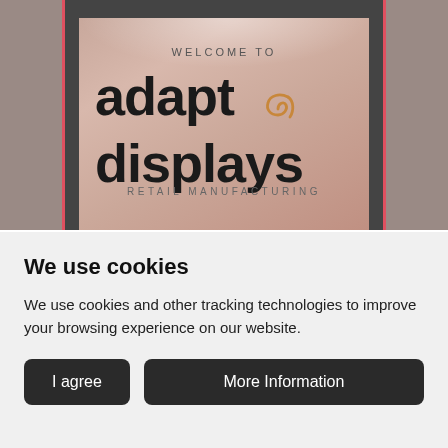[Figure (photo): Photo of a frosted glass panel/door sign reading 'WELCOME TO adapt displays RETAIL MANUFACTURING' with a spiral/swirl logo, mounted in a dark frame. The sign has a warm pink-beige background.]
We use cookies
We use cookies and other tracking technologies to improve your browsing experience on our website.
I agree
More Information